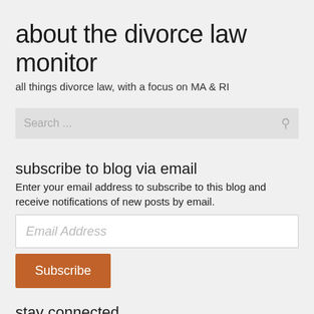about the divorce law monitor
all things divorce law, with a focus on MA & RI
[Figure (other): Search input box with placeholder text 'Search ...' and a search icon on the right]
subscribe to blog via email
Enter your email address to subscribe to this blog and receive notifications of new posts by email.
[Figure (other): Email address input field with placeholder 'Email Address']
[Figure (other): Orange Subscribe button]
stay connected
[Figure (other): Social media icons: Facebook (blue f), Twitter (blue bird), LinkedIn (blue in), and another icon (purple)]